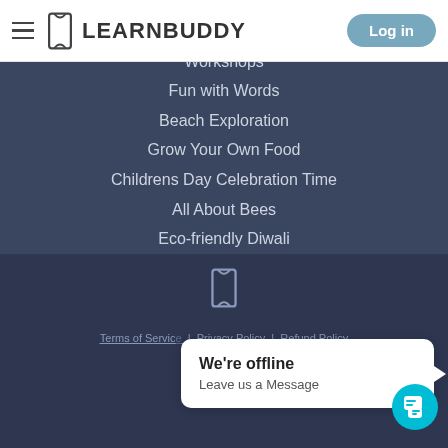LEARNBUDDY | Log in
Dictation (Level 1 & 2)
Workshops
Fun with Words
Beach Exploration
Grow Your Own Food
Childrens Day Celebration Time
All About Bees
Eco-friendly Diwali
Peep into Insect World
Download App
[Figure (logo): LearnBuddy logo icon in footer]
Terms of Service  |  Privacy Policy  |  Refund Policy
Copyright
We're offline
Leave us a Message